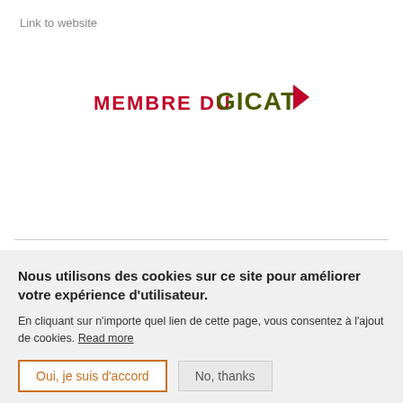Link to website
[Figure (logo): MEMBRE DU GICAT logo — text 'MEMBRE DU' in red/crimson and 'GICAT' in dark olive green with a red arrow/chevron to the right]
Nous utilisons des cookies sur ce site pour améliorer votre expérience d'utilisateur.
En cliquant sur n'importe quel lien de cette page, vous consentez à l'ajout de cookies. Read more
Oui, je suis d'accord
No, thanks